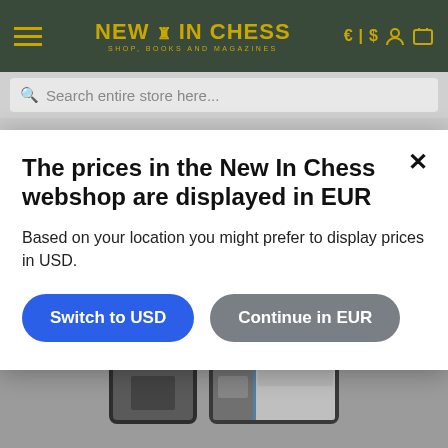NEW IN CHESS — SHOP, BOOKS AND MAGAZINES | € | $ [account] [cart]
Search entire store here...
of Bent Larsen's Best Games.
The prices in the New In Chess webshop are displayed in EUR
Based on your location you might prefer to display prices in USD.
Switch to USD
Continue in EUR
[Figure (screenshot): Browser and device interface showing New In Chess app on tablet and phone screens]